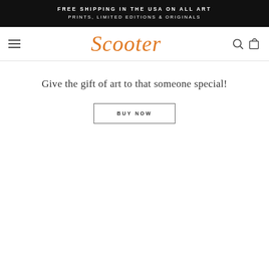FREE SHIPPING IN THE USA ON ALL ART
PRINTS, LIMITED EDITIONS & ORIGINALS
[Figure (logo): Scooter art gallery logo in orange script font, with hamburger menu icon on left and search/cart icons on right]
Give the gift of art to that someone special!
BUY NOW